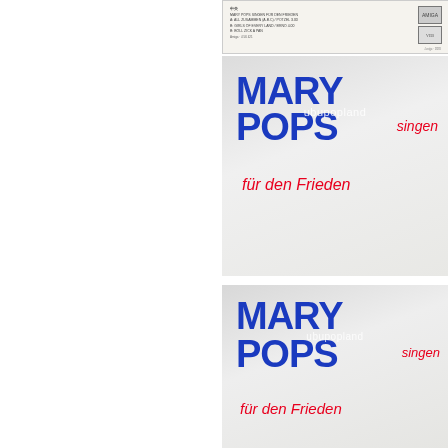[Figure (photo): Small record sleeve back with text and label logos, partial view at top right of page]
[Figure (photo): Mary Pops 'singen für den Frieden' record sleeve front cover with bold blue bubble lettering 'MARY POPS' and red italic handwritten text 'singen für den Frieden', with ubupopland watermark]
[Figure (photo): Second (cropped/duplicate) view of Mary Pops 'singen für den Frieden' record sleeve front cover, same design, partially cropped at bottom]